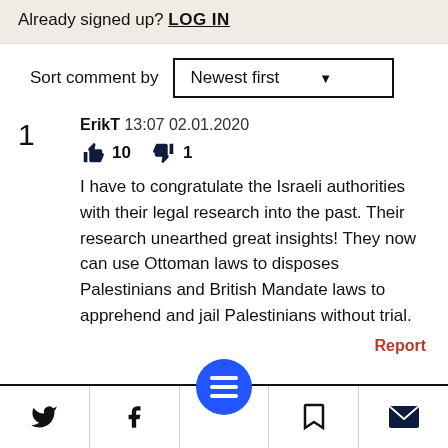Already signed up? LOG IN
Sort comment by  Newest first
1  ErikT  13:07 02.01.2020
👍 10  👎 1
I have to congratulate the Israeli authorities with their legal research into the past. Their research unearthed great insights! They now can use Ottoman laws to disposes Palestinians and British Mandate laws to apprehend and jail Palestinians without trial.
Report